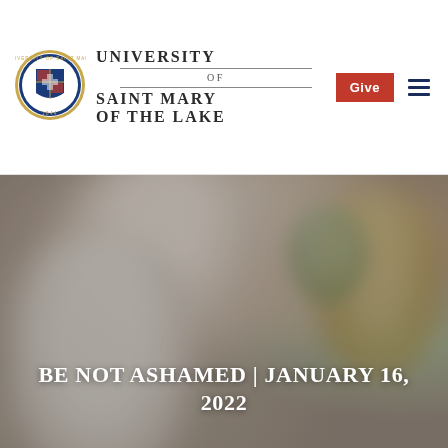[Figure (logo): University of Saint Mary of the Lake circular seal/crest logo with blue and red heraldic shield, dated 1844]
UNIVERSITY OF SAINT MARY OF THE LAKE
Give
[Figure (photo): Blurred background photograph of robed figures, likely clergy or seminary students, in an indoor setting]
BE NOT ASHAMED | JANUARY 16, 2022